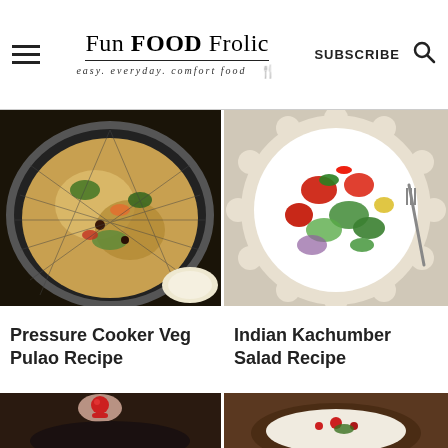Fun FOOD Frolic — easy. everyday. comfort food | SUBSCRIBE
[Figure (photo): Overhead shot of Pressure Cooker Veg Pulao in a dark bowl with raita on the side]
[Figure (photo): Overhead shot of Indian Kachumber Salad in a white scalloped bowl]
Pressure Cooker Veg Pulao Recipe
Indian Kachumber Salad Recipe
[Figure (photo): Partial view of a hand holding a cherry tomato over a dark bowl]
[Figure (photo): Partial view of a raita or yogurt-based dish in a dark bowl]